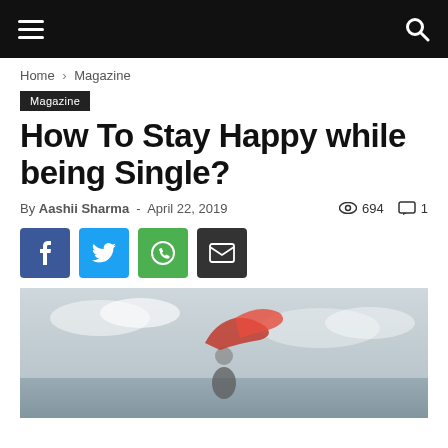Navigation bar with hamburger menu and search icon
Home › Magazine
Magazine
How To Stay Happy while being Single?
By Aashii Sharma - April 22, 2019   694   1
[Figure (infographic): Social share buttons: Facebook (blue), Twitter (cyan), WhatsApp (green), Email (dark)]
[Figure (photo): Person holding a red scarf up against a cloudy sky background, black and white striped outfit]